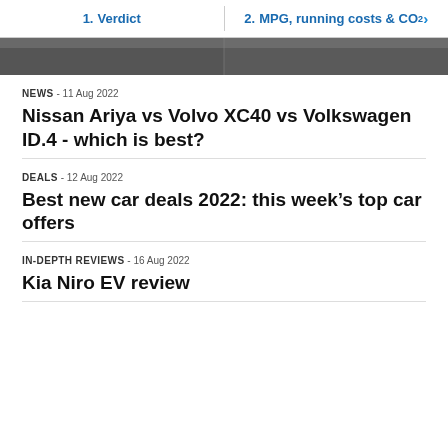1. Verdict | 2. MPG, running costs & CO2 >
[Figure (photo): Dark cropped image strip showing top portion of cars on a road]
NEWS  - 11 Aug 2022
Nissan Ariya vs Volvo XC40 vs Volkswagen ID.4 - which is best?
DEALS  - 12 Aug 2022
Best new car deals 2022: this week's top car offers
IN-DEPTH REVIEWS  - 16 Aug 2022
Kia Niro EV review